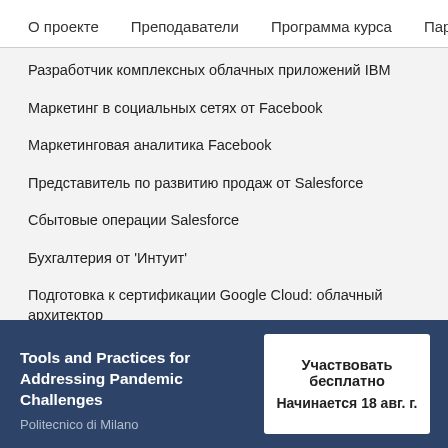О проекте   Преподаватели   Программа курса   Параме
Разработчик комплексных облачных приложений IBM
Маркетинг в социальных сетях от Facebook
Маркетинговая аналитика Facebook
Представитель по развитию продаж от Salesforce
Сбытовые операции Salesforce
Бухгалтерия от 'Интуит'
Подготовка к сертификации Google Cloud: облачный архитектор
Подготовка к сертификации Google Cloud: специалист по инженерии облачных данных
Начните карьеру
Tools and Practices for Addressing Pandemic Challenges
Politecnico di Milano
Участвовать бесплатно
Начинается 18 авг. г.